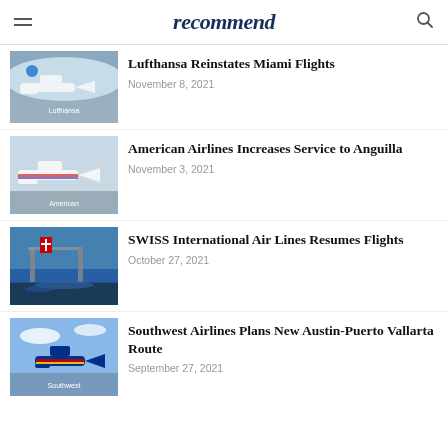recommend
Lufthansa Reinstates Miami Flights
November 8, 2021
American Airlines Increases Service to Anguilla
November 3, 2021
SWISS International Air Lines Resumes Flights
October 27, 2021
Southwest Airlines Plans New Austin-Puerto Vallarta Route
September 27, 2021